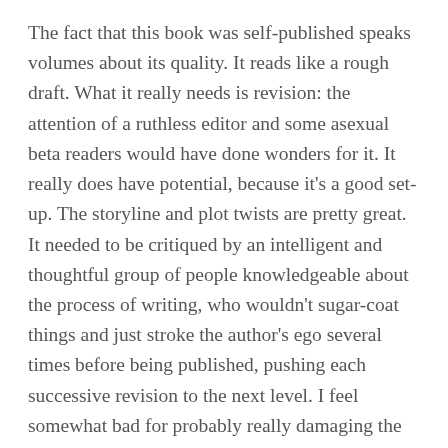The fact that this book was self-published speaks volumes about its quality. It reads like a rough draft. What it really needs is revision: the attention of a ruthless editor and some asexual beta readers would have done wonders for it. It really does have potential, because it's a good set-up. The storyline and plot twists are pretty great. It needed to be critiqued by an intelligent and thoughtful group of people knowledgeable about the process of writing, who wouldn't sugar-coat things and just stroke the author's ego several times before being published, pushing each successive revision to the next level. I feel somewhat bad for probably really damaging the author's ego as it is, but harsh criticism really goes with the territory when you put yourself out there like this, and I think it's more important to be completely honest in a review. I